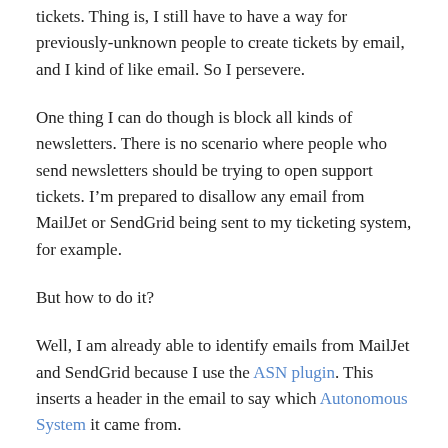tickets. Thing is, I still have to have a way for previously-unknown people to create tickets by email, and I kind of like email. So I persevere.
One thing I can do though is block all kinds of newsletters. There is no scenario where people who send newsletters should be trying to open support tickets. I’m prepared to disallow any email from MailJet or SendGrid being sent to my ticketing system, for example.
But how to do it?
Well, I am already able to identify emails from MailJet and SendGrid because I use the ASN plugin. This inserts a header in the email to say which Autonomous System it came from.
MailJet’s ASN is 209069, and SendGrid’s is 11377. I know